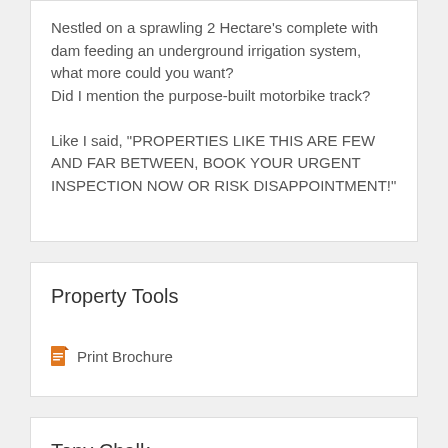Nestled on a sprawling 2 Hectare's complete with dam feeding an underground irrigation system, what more could you want?
Did I mention the purpose-built motorbike track?

Like I said, "PROPERTIES LIKE THIS ARE FEW AND FAR BETWEEN, BOOK YOUR URGENT INSPECTION NOW OR RISK DISAPPOINTMENT!"
Property Tools
Print Brochure
Tony Chalk
Sales Manager